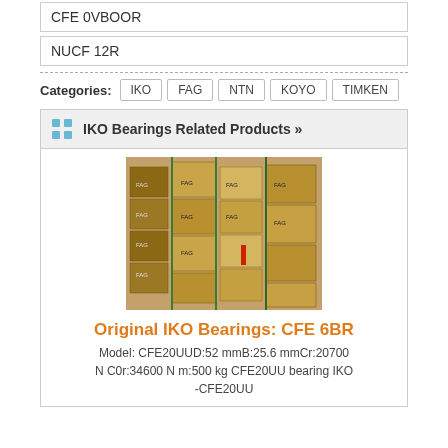CFE 0VBOOR
NUCF 12R
Categories: IKO FAG NTN KOYO TIMKEN
IKO Bearings Related Products »
[Figure (photo): Warehouse shelves stacked with large wooden/cardboard boxes labeled FAG, industrial bearings storage facility]
Original IKO Bearings: CFE 6BR
Model: CFE20UUD:52 mmB:25.6 mmCr:20700 N C0r:34600 N m:500 kg CFE20UU bearing IKO-CFE20UU